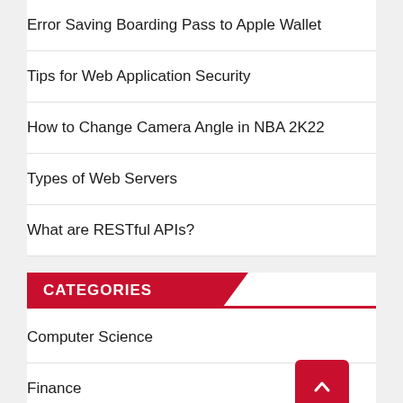Error Saving Boarding Pass to Apple Wallet
Tips for Web Application Security
How to Change Camera Angle in NBA 2K22
Types of Web Servers
What are RESTful APIs?
CATEGORIES
Computer Science
Finance